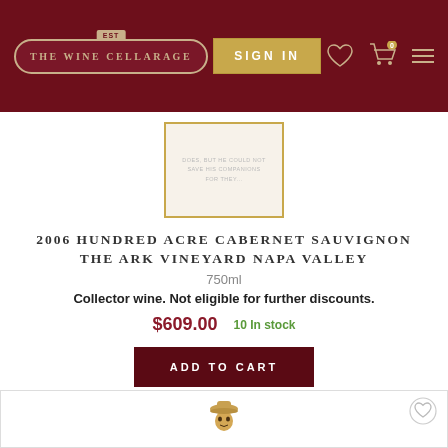[Figure (logo): The Wine Cellarage logo in ornate border on dark red navbar]
[Figure (screenshot): Wine bottle label image with gold border showing text 'DOES, BUT HE COULD NOT SAVE HIS COMPANIONS FOR THEY...']
2006 HUNDRED ACRE CABERNET SAUVIGNON THE ARK VINEYARD NAPA VALLEY
750ml
Collector wine. Not eligible for further discounts.
$609.00  10 In stock
[Figure (screenshot): ADD TO CART button, dark red/maroon]
[Figure (illustration): Scarecrow logo illustration for second wine product card, partially visible at bottom]